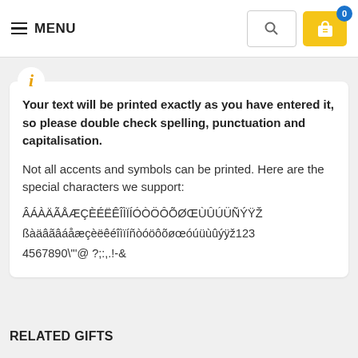≡ MENU
Your text will be printed exactly as you have entered it, so please double check spelling, punctuation and capitalisation.
Not all accents and symbols can be printed. Here are the special characters we support:
ÂÁÀÄÃÅÆÇÈÉËÊÎÌÏÍÓÒÖÔÕØŒÙÛÚÜÑÝŸŽß
ßàäâãâáåæçèëêéîìïíñòóöôõøœóúüùûýÿž123
4567890\""@ ?;:,.!-&
RELATED GIFTS